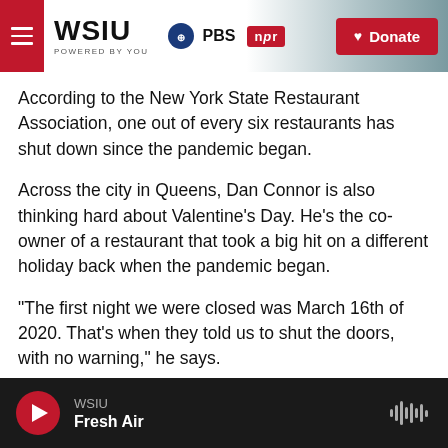[Figure (screenshot): WSIU website header with logo, PBS and NPR badges, and Donate button]
According to the New York State Restaurant Association, one out of every six restaurants has shut down since the pandemic began.
Across the city in Queens, Dan Connor is also thinking hard about Valentine's Day. He's the co-owner of a restaurant that took a big hit on a different holiday back when the pandemic began.
"The first night we were closed was March 16th of 2020. That's when they told us to shut the doors, with no warning," he says.
WSIU Fresh Air